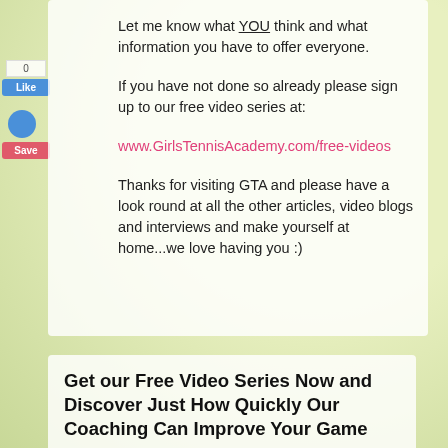Let me know what YOU think and what information you have to offer everyone.
If you have not done so already please sign up to our free video series at:
www.GirlsTennisAcademy.com/free-videos
Thanks for visiting GTA and please have a look round at all the other articles, video blogs and interviews and make yourself at home...we love having you :)
Get our Free Video Series Now and Discover Just How Quickly Our Coaching Can Improve Your Game